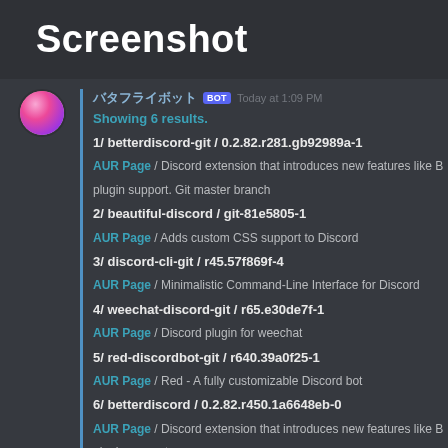Screenshot
バタフライボット BOT Today at 1:09 PM
Showing 6 results.
1/ betterdiscord-git / 0.2.82.r281.gb92989a-1
AUR Page / Discord extension that introduces new features like B plugin support. Git master branch
2/ beautiful-discord / git-81e5805-1
AUR Page / Adds custom CSS support to Discord
3/ discord-cli-git / r45.57f869f-4
AUR Page / Minimalistic Command-Line Interface for Discord
4/ weechat-discord-git / r65.e30de7f-1
AUR Page / Discord plugin for weechat
5/ red-discordbot-git / r640.39a0f25-1
AUR Page / Red - A fully customizable Discord bot
6/ betterdiscord / 0.2.82.r450.1a6648eb-0
AUR Page / Discord extension that introduces new features like B plugin support.
Data fetched from https://aur.archlinux.org using Bash <3